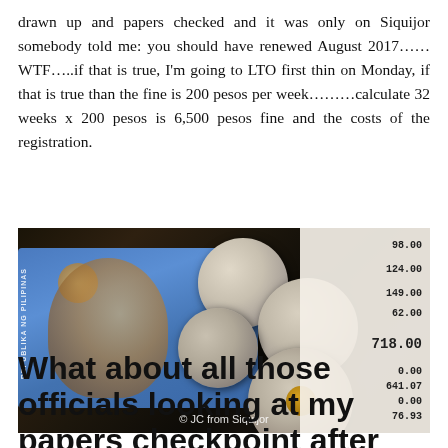drawn up and papers checked and it was only on Siquijor somebody told me: you should have renewed August 2017……WTF…..if that is true, I'm going to LTO first thin on Monday, if that is true than the fine is 200 pesos per week………calculate 32 weeks x 200 pesos is 6,500 pesos fine and the costs of the registration.
[Figure (photo): Photo of Philippine peso bill (blue), multiple coins including a bimetallic coin, and a receipt showing amounts: 98.00, 124.00, 149.00, 62.00, 718.00, 0.00, 641.07, 0.00, 76.93. Watermark reads '© JC from Siquijor'.]
What about all those officials looking at my papers checkpoint after